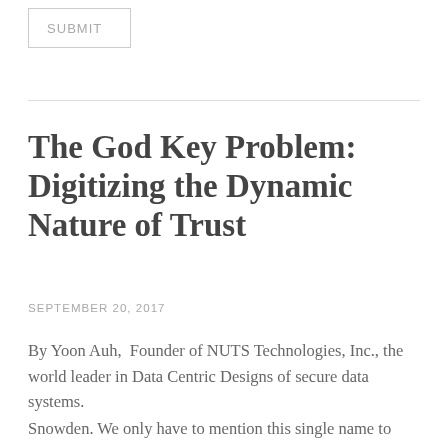SUBMIT
The God Key Problem: Digitizing the Dynamic Nature of Trust
SEPTEMBER 20, 2017
By Yoon Auh,  Founder of NUTS Technologies, Inc., the world leader in Data Centric Designs of secure data systems.
Snowden. We only have to mention this single name to conjure up a plethora of views on the matter that